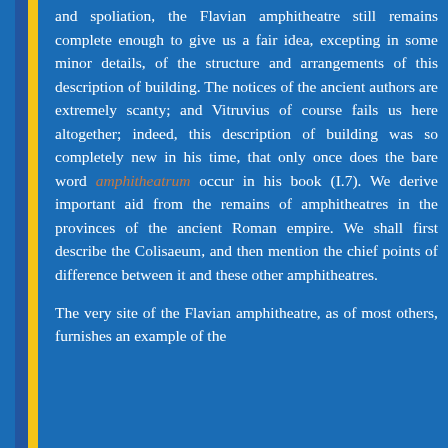and spoliation, the Flavian amphitheatre still remains complete enough to give us a fair idea, excepting in some minor details, of the structure and arrangements of this description of building. The notices of the ancient authors are extremely scanty; and Vitruvius of course fails us here altogether; indeed, this description of building was so completely new in his time, that only once does the bare word amphitheatrum occur in his book (I.7). We derive important aid from the remains of amphitheatres in the provinces of the ancient Roman empire. We shall first describe the Colisaeum, and then mention the chief points of difference between it and these other amphitheatres.
The very site of the Flavian amphitheatre, as of most others, furnishes an example of the